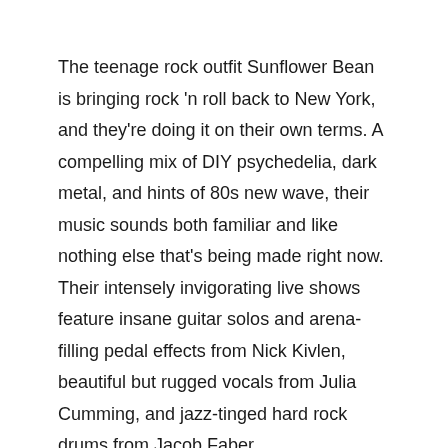The teenage rock outfit Sunflower Bean is bringing rock 'n roll back to New York, and they're doing it on their own terms. A compelling mix of DIY psychedelia, dark metal, and hints of 80s new wave, their music sounds both familiar and like nothing else that's being made right now. Their intensely invigorating live shows feature insane guitar solos and arena-filling pedal effects from Nick Kivlen, beautiful but rugged vocals from Julia Cumming, and jazz-tinged hard rock drums from Jacob Faber.